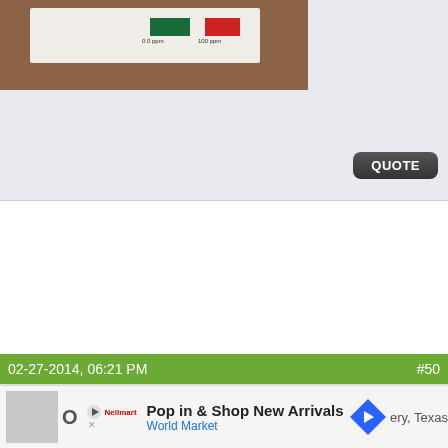[Figure (photo): Photo of a water test strip card on a wooden surface, showing a green color swatch labeled '0.0 ppm' and a red color swatch labeled '100 ppm']
QUOTE
02-27-2014, 06:21 PM    #50
[Figure (screenshot): Advertisement banner: Play button icon with Neilmark logo, 'Pop in & Shop New Arrivals', 'World Market' in blue, navigation arrow icon, partial text 'ery, Texas']